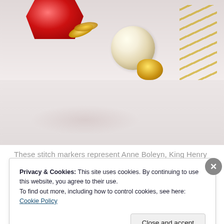[Figure (photo): Close-up photograph of jewelry stitch markers featuring a red gemstone, gold decorative elements, a pearl, and gold chain accents against a light background.]
These stitch markers represent Anne Boleyn, King Henry VIII's mistress, wife, martyr, and the mother of Queen Elizabeth I.
Privacy & Cookies: This site uses cookies. By continuing to use this website, you agree to their use.
To find out more, including how to control cookies, see here: Cookie Policy